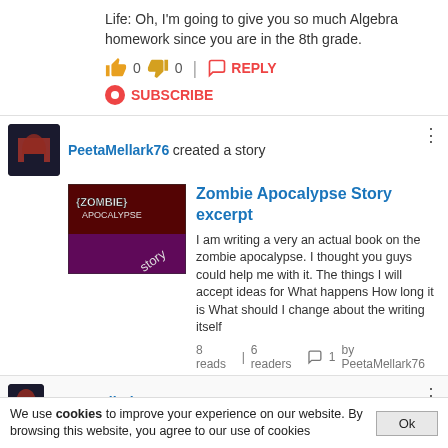Life: Oh, I'm going to give you so much Algebra homework since you are in the 8th grade.
0  0  REPLY  SUBSCRIBE
PeetaMellark76 created a story
[Figure (screenshot): Story thumbnail for Zombie Apocalypse Story with dark red/zombie imagery]
Zombie Apocalypse Story excerpt
I am writing a very an actual book on the zombie apocalypse. I thought you guys could help me with it. The things I will accept ideas for What happens How long it is What should I change about the writing itself
8 reads  6 readers  1  by PeetaMellark76
PeetaMellark76
Guys, I know I have been SUPER UNACTIVE, but that will change! I will start writing stories and other stuff extremely soon. I really appreciate you guys have still been following me.
0  0  REPLY
PeetaMellark76
I am also going to start cranking out new chapter for Terror at
We use cookies to improve your experience on our website. By browsing this website, you agree to our use of cookies